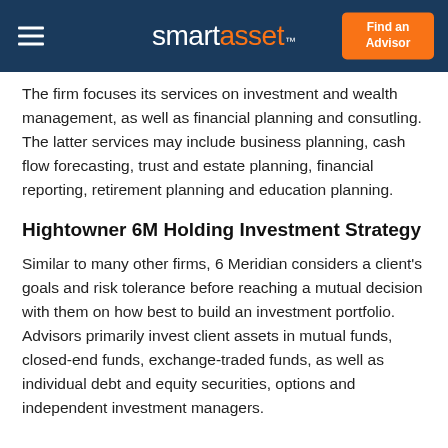smartasset™ | Find an Advisor
The firm focuses its services on investment and wealth management, as well as financial planning and consutling. The latter services may include business planning, cash flow forecasting, trust and estate planning, financial reporting, retirement planning and education planning.
Hightowner 6M Holding Investment Strategy
Similar to many other firms, 6 Meridian considers a client's goals and risk tolerance before reaching a mutual decision with them on how best to build an investment portfolio. Advisors primarily invest client assets in mutual funds, closed-end funds, exchange-traded funds, as well as individual debt and equity securities, options and independent investment managers.